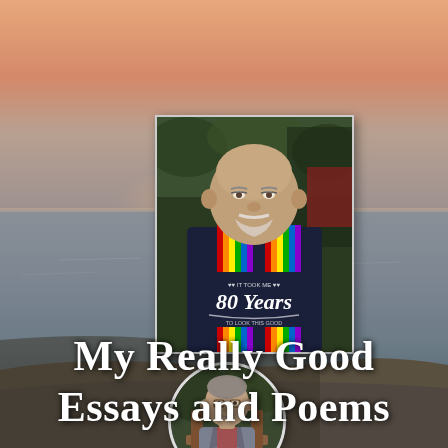[Figure (photo): Book cover with a sunset beach background. Shows an older man wearing a navy blue '80 Years' t-shirt with rainbow suspenders in the main rectangular photo, and a smaller circular portrait of an older man in a gray jacket seated outdoors.]
My Really Good Essays and Poems